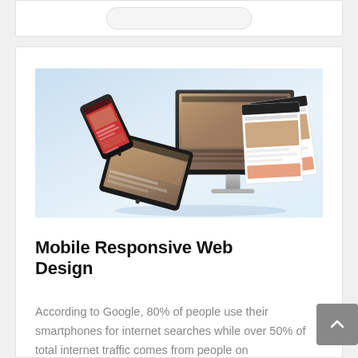[Figure (illustration): Illustration of multiple web-enabled devices: a smartphone, a tablet, and a desktop monitor, each displaying website content, arranged in a floating composition against a light blue-white gradient background.]
Mobile Responsive Web Design
According to Google, 80% of people use their smartphones for internet searches while over 50% of total internet traffic comes from people on